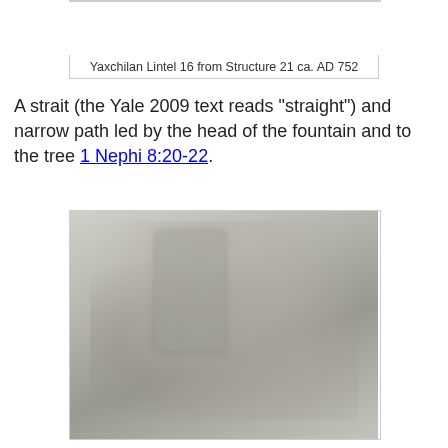[Figure (photo): Partial view of Yaxchilan Lintel 16 from Structure 21, showing carved stone relief with Maya imagery, ca. AD 752]
Yaxchilan Lintel 16 from Structure 21 ca. AD 752
A strait (the Yale 2009 text reads "straight") and narrow path led by the head of the fountain and to the tree 1 Nephi 8:20-22.
[Figure (photo): Black and white photograph of an ancient carved stone altar or monument featuring a prominent tree of life motif with figures, scrollwork, and decorative borders. A museum label plaque is visible on the lower right portion of the stone.]